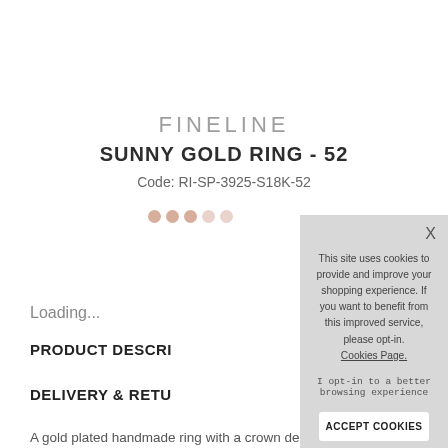FINELINE
SUNNY GOLD RING - 52
Code: RI-SP-3925-S18K-52
Loading...
PRODUCT DESCRI
DELIVERY & RETU
A gold plated handmade ring with a crown design.
This site uses cookies to provide and improve your shopping experience. If you want to benefit from this improved service, please opt-in. Cookies Page. I opt-in to a better browsing experience
ACCEPT COOKIES